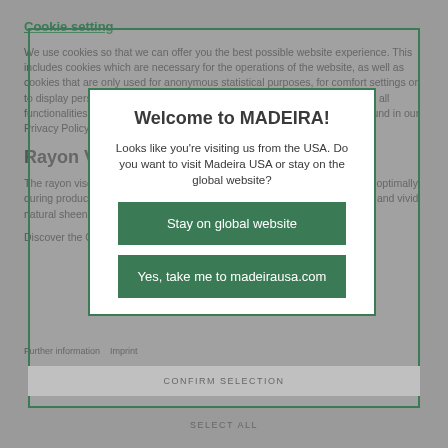Cookie setting
We use cookies so that we can offer you the best possible website experience. This includes cookies which are necessary for the operations of the website, as well as cookies that are only used for anonymous statistical purposes, for comfort settings or to display personalized content. Please note that based on your settings not all functionalities of the website will be available. Further information can be found in our Privacy Policy. Address for the website: Madeira Thread USA LLC.
Rayon Viscose
The rayon viscose Classic threads have a superior tensile strength, behave optimally during production and are extremely versatile. They are soft, with a lustrous and vivid natural sheen.
Discover the Classic thread range →
Welcome to MADEIRA!
Looks like you're visiting us from the USA. Do you want to visit Madeira USA or stay on the global website?
Stay on global website
Yes, take me to madeirausa.com
CONFIRM SELECTION
SELECT ALL